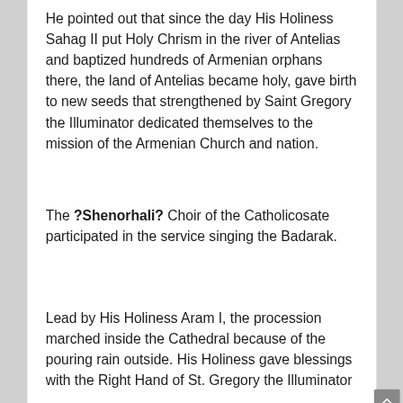He pointed out that since the day His Holiness Sahag II put Holy Chrism in the river of Antelias and baptized hundreds of Armenian orphans there, the land of Antelias became holy, gave birth to new seeds that strengthened by Saint Gregory the Illuminator dedicated themselves to the mission of the Armenian Church and nation.
The ?Shenorhali? Choir of the Catholicosate participated in the service singing the Badarak.
Lead by His Holiness Aram I, the procession marched inside the Cathedral because of the pouring rain outside. His Holiness gave blessings with the Right Hand of St. Gregory the Illuminator